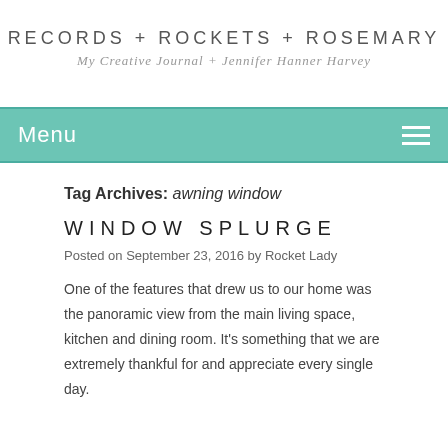RECORDS + ROCKETS + ROSEMARY
My Creative Journal + Jennifer Hanner Harvey
Menu
Tag Archives: awning window
WINDOW SPLURGE
Posted on September 23, 2016 by Rocket Lady
One of the features that drew us to our home was the panoramic view from the main living space, kitchen and dining room. It's something that we are extremely thankful for and appreciate every single day.